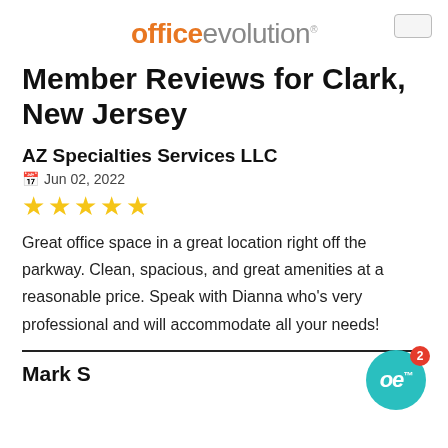[Figure (logo): Office Evolution logo with 'office' in orange bold and 'evolution' in gray]
Member Reviews for Clark, New Jersey
AZ Specialties Services LLC
Jun 02, 2022
[Figure (other): Five gold star rating]
Great office space in a great location right off the parkway. Clean, spacious, and great amenities at a reasonable price. Speak with Dianna who's very professional and will accommodate all your needs!
Mark S